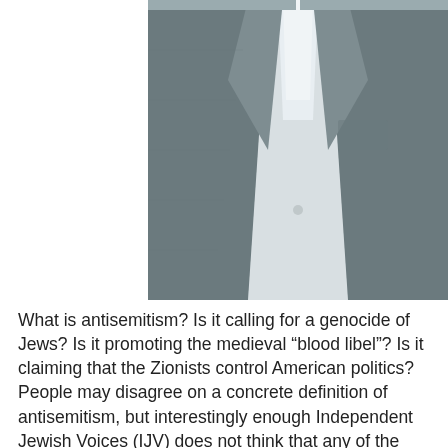[Figure (photo): Close-up photo of a person's torso wearing a grey blazer/suit jacket over a white shirt, no face visible.]
What is antisemitism?  Is it calling for a genocide of Jews?  Is it promoting the medieval “blood libel”? Is it claiming that the Zionists control American politics? People may disagree on a concrete definition of antisemitism, but interestingly enough Independent Jewish Voices (IJV) does not think that any of the listed examples constitute antisemitism.

To understand why IJV thinks this way